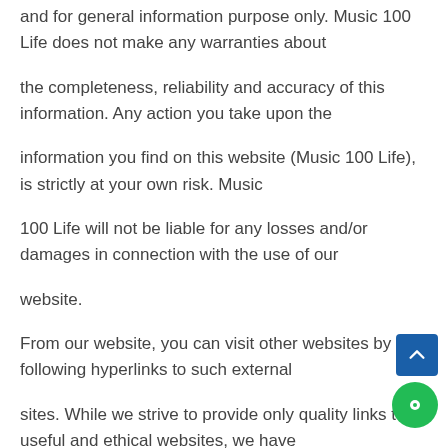and for general information purpose only. Music 100 Life does not make any warranties about
the completeness, reliability and accuracy of this information. Any action you take upon the
information you find on this website (Music 100 Life), is strictly at your own risk. Music
100 Life will not be liable for any losses and/or damages in connection with the use of our
website.
From our website, you can visit other websites by following hyperlinks to such external
sites. While we strive to provide only quality links to useful and ethical websites, we have